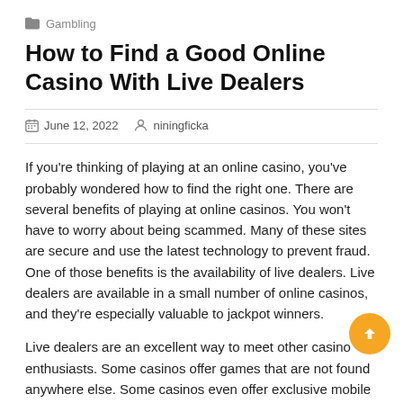Gambling
How to Find a Good Online Casino With Live Dealers
June 12, 2022   niningficka
If you're thinking of playing at an online casino, you've probably wondered how to find the right one. There are several benefits of playing at online casinos. You won't have to worry about being scammed. Many of these sites are secure and use the latest technology to prevent fraud. One of those benefits is the availability of live dealers. Live dealers are available in a small number of online casinos, and they're especially valuable to jackpot winners.
Live dealers are an excellent way to meet other casino enthusiasts. Some casinos offer games that are not found anywhere else. Some casinos even offer exclusive mobile games that are fully compatible with your device. This way, you can enjoy the best of both worlds. And because these games are available on any device, you can play